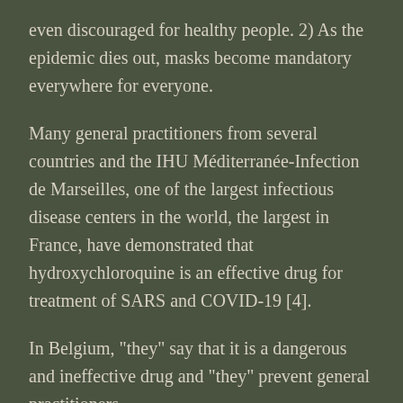even discouraged for healthy people. 2) As the epidemic dies out, masks become mandatory everywhere for everyone.
Many general practitioners from several countries and the IHU Méditerranée-Infection de Marseilles, one of the largest infectious disease centers in the world, the largest in France, have demonstrated that hydroxychloroquine is an effective drug for treatment of SARS and COVID-19 [4].
In Belgium, “they” say that it is a dangerous and ineffective drug and “they” prevent general practitioners